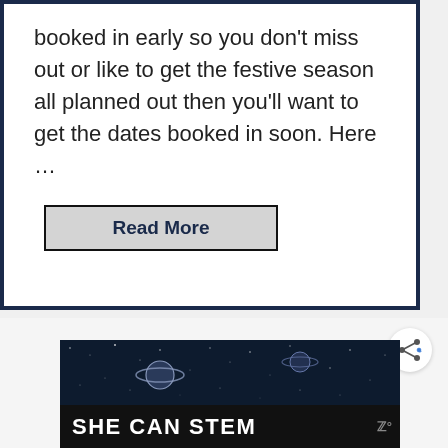booked in early so you don't miss out or like to get the festive season all planned out then you'll want to get the dates booked in soon. Here ...
Read More
[Figure (screenshot): A dark space-themed image with a ringed planet (Saturn-like) and the text 'SHE CAN STEM' in white bold text on a black bar at the bottom. There is a 'WHAT'S NEXT' panel visible on the right with text 'Does Avon Skin So Soft...' and a thumbnail image.]